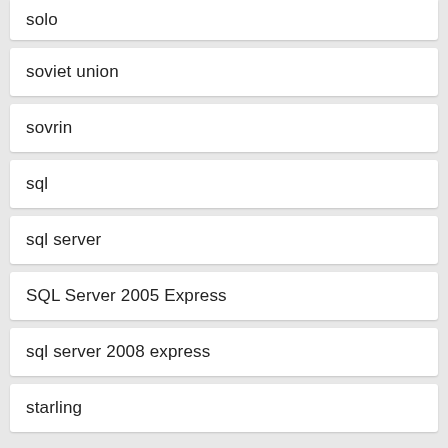solo
soviet union
sovrin
sql
sql server
SQL Server 2005 Express
sql server 2008 express
starling